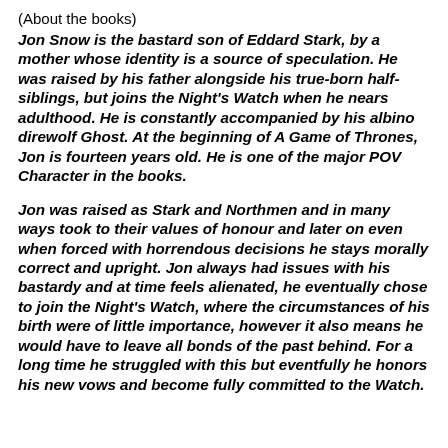(About the books)
Jon Snow is the bastard son of Eddard Stark, by a mother whose identity is a source of speculation. He was raised by his father alongside his true-born half-siblings, but joins the Night's Watch when he nears adulthood. He is constantly accompanied by his albino direwolf Ghost. At the beginning of A Game of Thrones, Jon is fourteen years old. He is one of the major POV Character in the books.
Jon was raised as Stark and Northmen and in many ways took to their values of honour and later on even when forced with horrendous decisions he stays morally correct and upright. Jon always had issues with his bastardy and at time feels alienated, he eventually chose to join the Night's Watch, where the circumstances of his birth were of little importance, however it also means he would have to leave all bonds of the past behind. For a long time he struggled with this but eventfully he honors his new vows and become fully committed to the Watch.